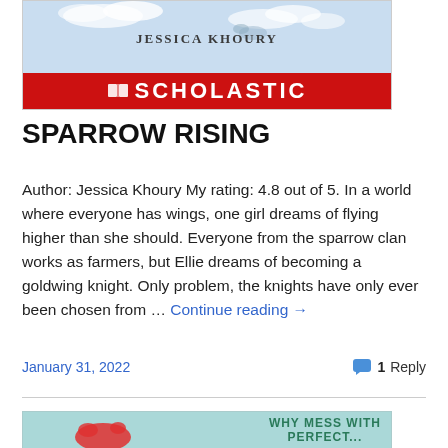[Figure (photo): Book cover for Sparrow Rising by Jessica Khoury, published by Scholastic. Shows a light blue/lavender illustrated cover with the author name and red Scholastic logo bar at bottom.]
SPARROW RISING
Author: Jessica Khoury My rating: 4.8 out of 5. In a world where everyone has wings, one girl dreams of flying higher than she should. Everyone from the sparrow clan works as farmers, but Ellie dreams of becoming a goldwing knight. Only problem, the knights have only ever been chosen from … Continue reading →
January 31, 2022
1 Reply
[Figure (photo): Partial book cover visible at bottom of page with teal background, red illustrated creature, and text reading 'WHY MESS WITH PERFECT...']